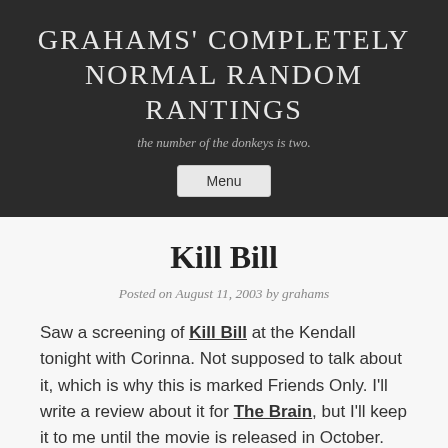GRAHAMS' COMPLETELY NORMAL RANDOM RANTINGS
the number of the donkeys is two.
Menu
Kill Bill
Posted on August 11, 2003 by grahams
Saw a screening of Kill Bill at the Kendall tonight with Corinna. Not supposed to talk about it, which is why this is marked Friends Only. I'll write a review about it for The Brain, but I'll keep it to me until the movie is released in October.
I...